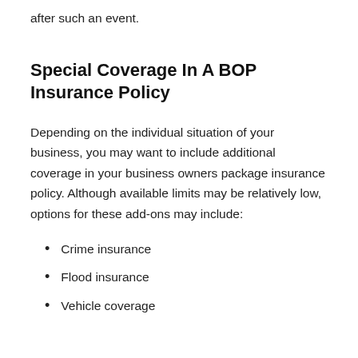after such an event.
Special Coverage In A BOP Insurance Policy
Depending on the individual situation of your business, you may want to include additional coverage in your business owners package insurance policy. Although available limits may be relatively low, options for these add-ons may include:
Crime insurance
Flood insurance
Vehicle coverage